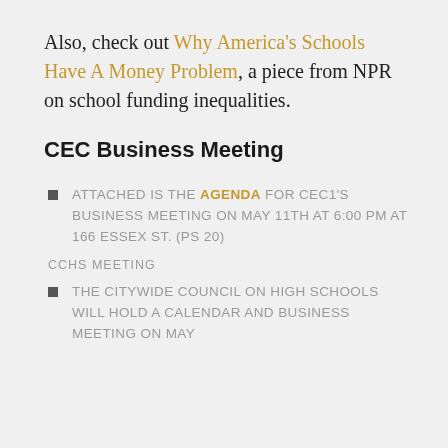Also, check out Why America's Schools Have A Money Problem, a piece from NPR on school funding inequalities.
CEC Business Meeting
ATTACHED IS THE AGENDA FOR CEC1'S BUSINESS MEETING ON MAY 11TH AT 6:00 PM AT 166 ESSEX ST. (PS 20)
CCHS MEETING
THE CITYWIDE COUNCIL ON HIGH SCHOOLS WILL HOLD A CALENDAR AND BUSINESS MEETING ON MAY